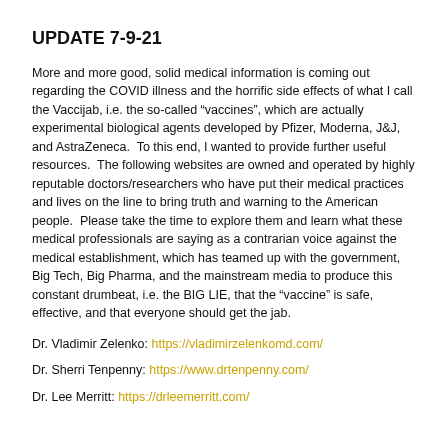UPDATE 7-9-21
More and more good, solid medical information is coming out regarding the COVID illness and the horrific side effects of what I call the Vaccijab, i.e. the so-called “vaccines”, which are actually experimental biological agents developed by Pfizer, Moderna, J&J, and AstraZeneca.  To this end, I wanted to provide further useful resources.  The following websites are owned and operated by highly reputable doctors/researchers who have put their medical practices and lives on the line to bring truth and warning to the American people.  Please take the time to explore them and learn what these medical professionals are saying as a contrarian voice against the medical establishment, which has teamed up with the government, Big Tech, Big Pharma, and the mainstream media to produce this constant drumbeat, i.e. the BIG LIE, that the “vaccine” is safe, effective, and that everyone should get the jab.
Dr. Vladimir Zelenko: https://vladimirzelenkomd.com/
Dr. Sherri Tenpenny: https://www.drtenpenny.com/
Dr. Lee Merritt: https://drleemerritt.com/